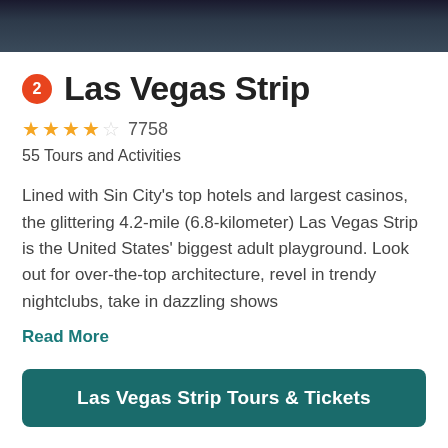[Figure (photo): Dark cityscape/Las Vegas night photo banner at top of page]
2 Las Vegas Strip
★★★★☆ 7758
55 Tours and Activities
Lined with Sin City's top hotels and largest casinos, the glittering 4.2-mile (6.8-kilometer) Las Vegas Strip is the United States' biggest adult playground. Look out for over-the-top architecture, revel in trendy nightclubs, take in dazzling shows
Read More
Las Vegas Strip Tours & Tickets